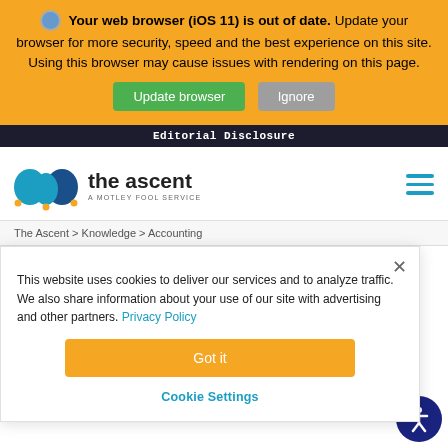[Figure (screenshot): Browser out-of-date warning banner with yellow background, warning icon, bold text, Update browser (green) and Ignore (grey) buttons]
Your web browser (iOS 11) is out of date. Update your browser for more security, speed and the best experience on this site. Using this browser may cause issues with rendering on this page.
Editorial Disclosure
[Figure (logo): The Ascent logo - jester hat icon with text 'the ascent' and tagline 'A MOTLEY FOOL SERVICE']
The Ascent > Knowledge > Accounting
This website uses cookies to deliver our services and to analyze traffic. We also share information about your use of our site with advertising and other partners. Privacy Policy
Got it
Cookie Settings